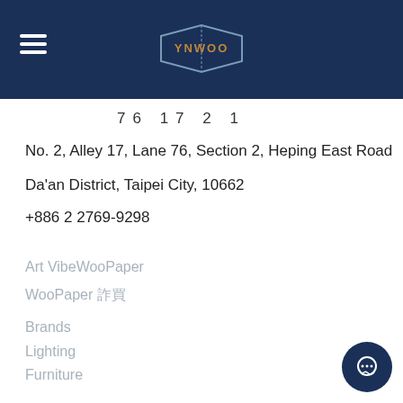YNWOO (logo and navigation header)
76  17  2  1
No. 2, Alley 17, Lane 76, Section 2, Heping East Road
Da'an District, Taipei City, 10662
+886 2 2769-9298
Art VibeWooPaper
WooPaper 訂購
Brands
Lighting
Furniture
Build Enhancement
3D Models